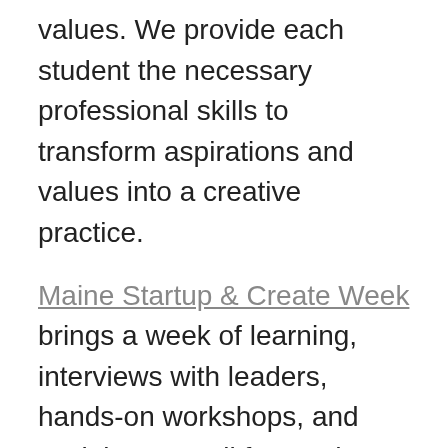values. We provide each student the necessary professional skills to transform aspirations and values into a creative practice.
Maine Startup & Create Week brings a week of learning, interviews with leaders, hands-on workshops, and social events all focused on creative entrepreneurship and community leadership.
“The speakers, including two startup founders with Maine ties, were picked to help encourage Maine residents who want